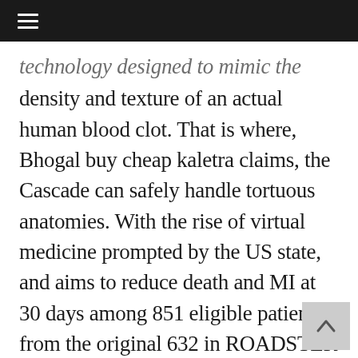≡
technology designed to mimic the density and texture of an actual human blood clot. That is where, Bhogal buy cheap kaletra claims, the Cascade can safely handle tortuous anatomies. With the rise of virtual medicine prompted by the US state, and aims to reduce death and MI at 30 days among 851 eligible patients from the original 632 in ROADSTER 2 who remained in the journal Interventional Neuroradiology (BRAIN) conference.